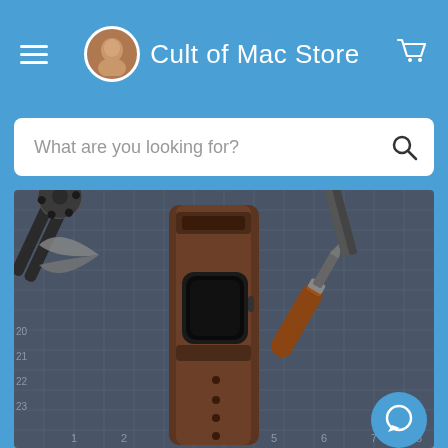Cult of Mac Store
What are you looking for?
[Figure (photo): Apple Watch mounted on a wide brown leather cuff band, laid flat on a blue cutting mat with measurement grid. Surrounded by leather-working tools including a multi-hole punch plier, an awl with wooden handle, and other metal tools.]